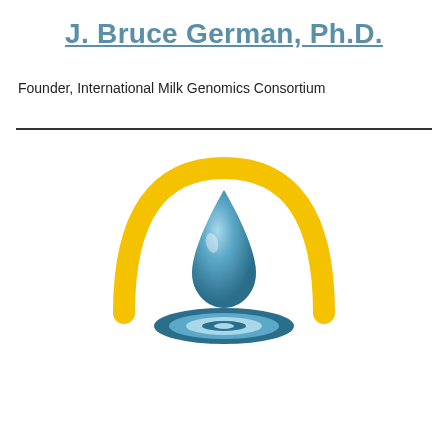J. Bruce German, Ph.D.
Founder, International Milk Genomics Consortium
[Figure (logo): International Milk Genomics Consortium logo: a golden arch over a blue water droplet falling into concentric blue ripple rings on a white background.]